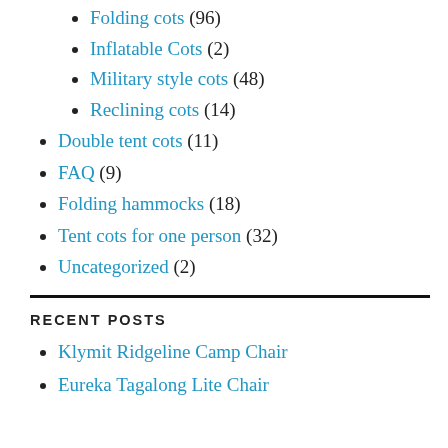Folding cots (96)
Inflatable Cots (2)
Military style cots (48)
Reclining cots (14)
Double tent cots (11)
FAQ (9)
Folding hammocks (18)
Tent cots for one person (32)
Uncategorized (2)
RECENT POSTS
Klymit Ridgeline Camp Chair
Eureka Tagalong Lite Chair